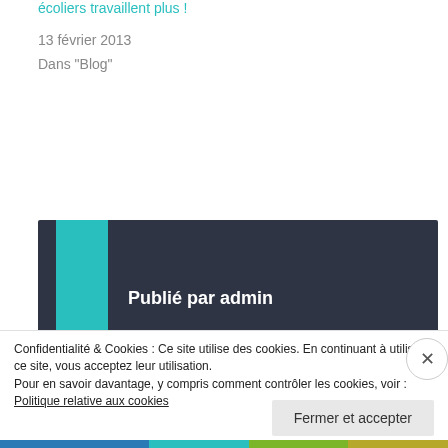écoliers travaillent plus !
13 février 2013
Dans "Blog"
Publié par admin
Voir tous les articles par admin
9 janvier 2014
Confidentialité & Cookies : Ce site utilise des cookies. En continuant à utiliser ce site, vous acceptez leur utilisation.
Pour en savoir davantage, y compris comment contrôler les cookies, voir : Politique relative aux cookies
Fermer et accepter